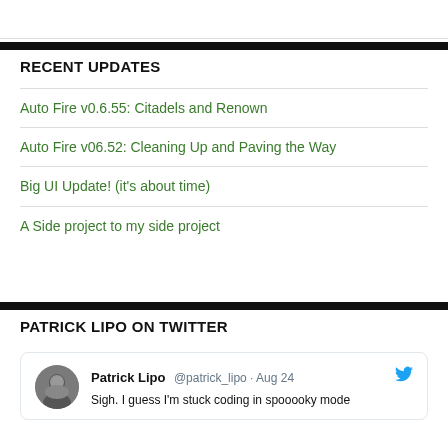RECENT UPDATES
Auto Fire v0.6.55: Citadels and Renown
Auto Fire v06.52: Cleaning Up and Paving the Way
Big UI Update! (it's about time)
A Side project to my side project
PATRICK LIPO ON TWITTER
Patrick Lipo @patrick_lipo · Aug 24
Sigh. I guess I'm stuck coding in spooooky mode